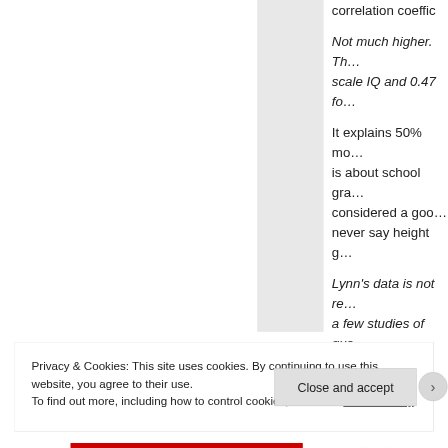correlation coeffic
Not much higher. Th… scale IQ and 0.47 fo…
It explains 50% mo… is about school gra… considered a goo… never say height g…
Lynn's data is not re… a few studies of que… might be a lot more… Saharan Africa, Eas… averaging many co… countries cancel ou…
Privacy & Cookies: This site uses cookies. By continuing to use this website, you agree to their use. To find out more, including how to control cookies, see here: Cookie Policy
Close and accept